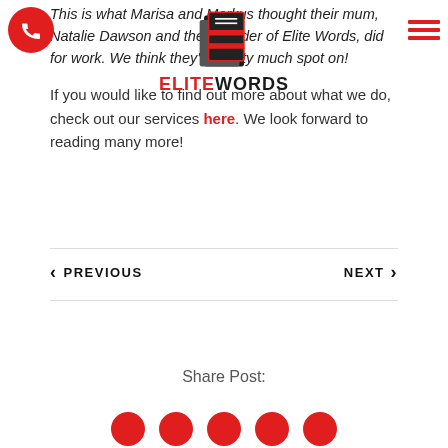[Figure (logo): Elite Words logo with stacked book icon and ELITE WORDS text]
This is what Marisa and Markus thought their mum, Natalie Dawson and the Founder of Elite Words, did for work. We think they're pretty much spot on!
If you would like to find out more about what we do, check out our services here. We look forward to reading many more!
‹ PREVIOUS    NEXT ›
Share Post: